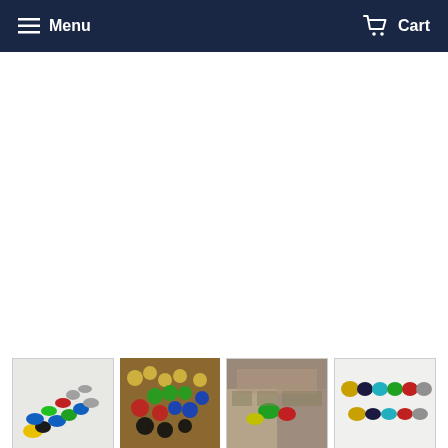Menu   Cart
[Figure (photo): Photo of colorful board game meeple/token pieces arranged diagonally - blue, green, black, red, yellow colors]
[Figure (photo): Photo of colorful board game tokens/pieces spread on dark wooden surface - green, red, yellow, blue, black pieces]
[Figure (photo): Photo of board game in play with colorful meeple pieces on game board]
[Figure (photo): Photo of individual board game token pieces laid out - yellow, dark blue, cyan, green, red, grey colors]